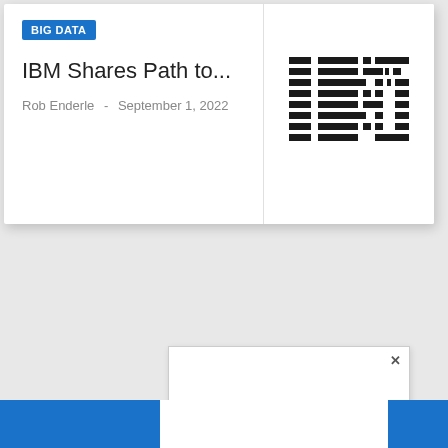BIG DATA
IBM Shares Path to...
Rob Enderle  -  September 1, 2022
[Figure (logo): IBM striped horizontal logo in black and white]
[Figure (screenshot): Small modal/dialog popup box with close (x) button, overlaid on a blue bottom bar]